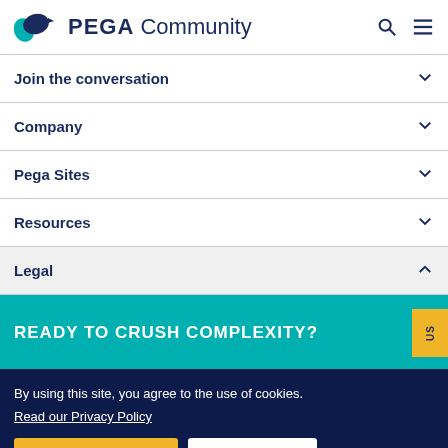PEGA Community
Join the conversation
Company
Pega Sites
Resources
Legal
READY TO CRUSH COMPLEXITY?
By using this site, you agree to the use of cookies. Read our Privacy Policy
Accept and continue
About cookies